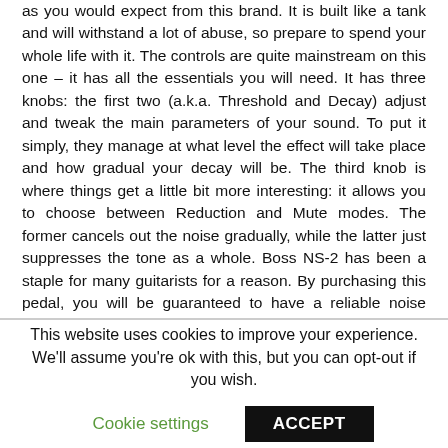as you would expect from this brand. It is built like a tank and will withstand a lot of abuse, so prepare to spend your whole life with it. The controls are quite mainstream on this one – it has all the essentials you will need. It has three knobs: the first two (a.k.a. Threshold and Decay) adjust and tweak the main parameters of your sound. To put it simply, they manage at what level the effect will take place and how gradual your decay will be. The third knob is where things get a little bit more interesting: it allows you to choose between Reduction and Mute modes. The former cancels out the noise gradually, while the latter just suppresses the tone as a whole. Boss NS-2 has been a staple for many guitarists for a reason. By purchasing this pedal, you will be guaranteed to have a reliable noise suppressor in your signal chain.
This website uses cookies to improve your experience. We'll assume you're ok with this, but you can opt-out if you wish.
Cookie settings   ACCEPT